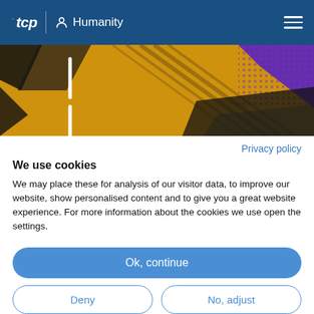tcp | Humanity
[Figure (photo): Abstract golden/yellow textured background with black diagonal chevron patterns and purple geometric shapes in upper right corner]
Privacy policy
We use cookies
We may place these for analysis of our visitor data, to improve our website, show personalised content and to give you a great website experience. For more information about the cookies we use open the settings.
Ok, continue
Deny
No, adjust